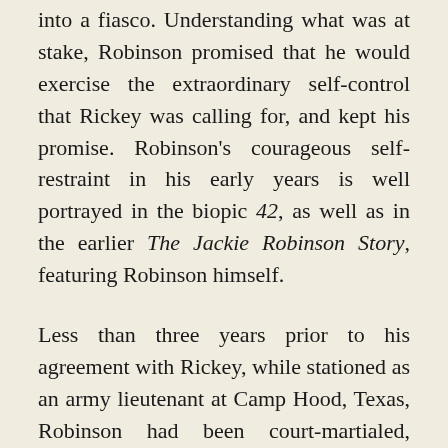into a fiasco. Understanding what was at stake, Robinson promised that he would exercise the extraordinary self-control that Rickey was calling for, and kept his promise. Robinson's courageous self-restraint in his early years is well portrayed in the biopic 42, as well as in the earlier The Jackie Robinson Story, featuring Robinson himself.
Less than three years prior to his agreement with Rickey, while stationed as an army lieutenant at Camp Hood, Texas, Robinson had been court-martialed, though ultimately acquitted, for refusing to obey a white bus driver's directive that he move to the back of the bus, pointing out that the driver's demand contradicted a recent army directive banning racial segregation. Despite being a college